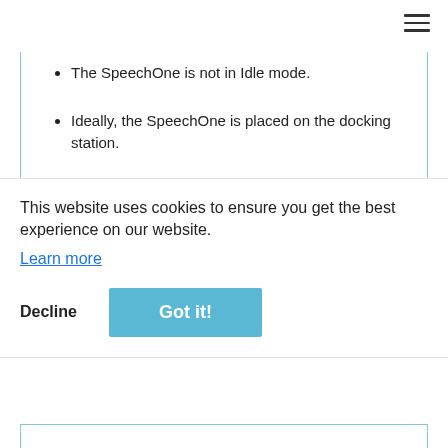The SpeechOne is not in Idle mode.
Ideally, the SpeechOne is placed on the docking station.
There is no recording or playback running.
To upgrade your device:
Connect your SpeechOne to your computer by using the appropriate USB cable. Make sure you use a USB type A to Mini USB connection marked with USB symbol on your computer and connect it to the SpeechOne onto the docking station.
This website uses cookies to ensure you get the best experience on our website.
Learn more
Decline
Got it!